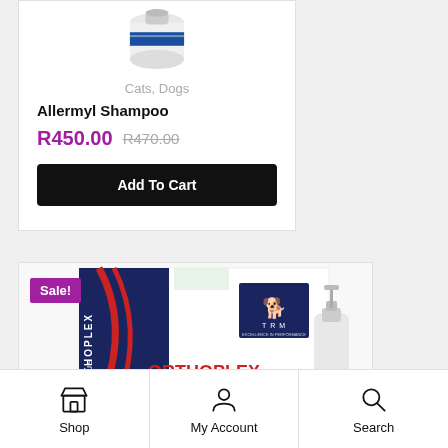[Figure (photo): Allermyl Shampoo product image - white container with blue label]
Cats, Dogs
Allermyl Shampoo
R450.00  R470.00
Add To Cart
Sale!
[Figure (photo): Orthoplex Plus product box - navy blue and red packaging with TRM logo and white bottle]
Shop  My Account  Search